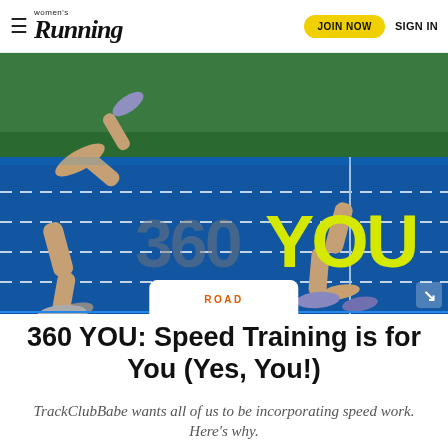Women's Running — JOIN NOW   SIGN IN
[Figure (photo): Two runners sprinting on a blue athletic track with green grass infield; mid-stride action shot showing legs and shoes. Overlaid with large text '360 YOU' where '360' appears in grey and 'YOU' in bright yellow-green. A white card at the bottom center reads 'ROAD'.]
360 YOU: Speed Training is for You (Yes, You!)
TrackClubBabe wants all of us to be incorporating speed work. Here's why.